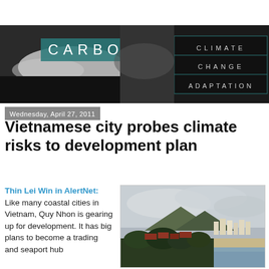[Figure (illustration): Carbon Based Climate Change Adaptation website banner with ocean wave photo and text overlay showing 'CARBON BASED' in large letters with 'CLIMATE CHANGE ADAPTATION' below]
Wednesday, April 27, 2011
Vietnamese city probes climate risks to development plan
Thin Lei Win in AlertNet: Like many coastal cities in Vietnam, Quy Nhon is gearing up for development. It has big plans to become a trading and seaport hub
[Figure (photo): Aerial coastal view of Quy Nhon city, Vietnam, showing beach, buildings, hills and sea under cloudy sky]